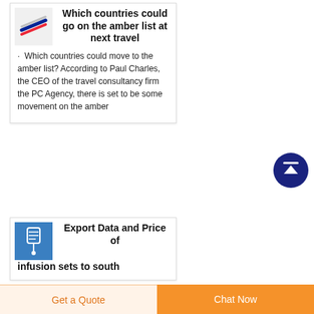Which countries could go on the amber list at next travel
· Which countries could move to the amber list? According to Paul Charles, the CEO of the travel consultancy firm the PC Agency, there is set to be some movement on the amber
Export Data and Price of infusion sets to south
Get a Quote
Chat Now